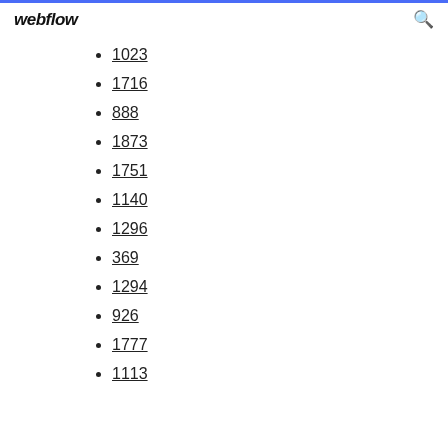webflow
1023
1716
888
1873
1751
1140
1296
369
1294
926
1777
1113